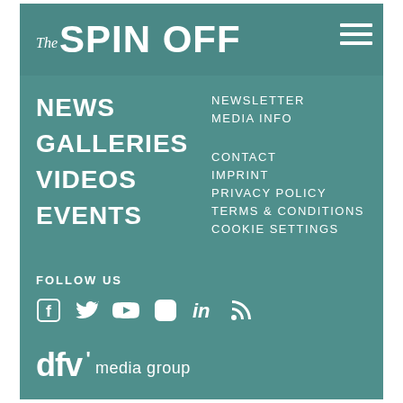The SPIN OFF
NEWS
GALLERIES
VIDEOS
EVENTS
NEWSLETTER
MEDIA INFO
CONTACT
IMPRINT
PRIVACY POLICY
TERMS & CONDITIONS
COOKIE SETTINGS
FOLLOW US
[Figure (infographic): Social media icons: Facebook, Twitter, YouTube, Instagram, LinkedIn, RSS]
dfv media group